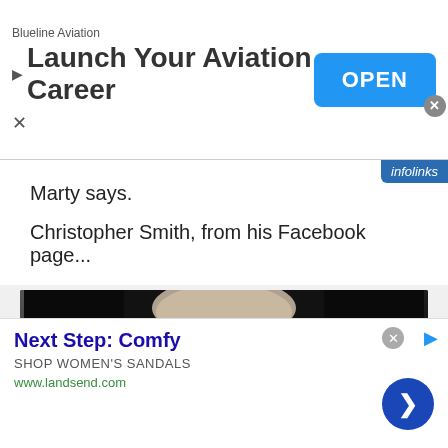[Figure (screenshot): Advertisement banner for Blueline Aviation with 'Launch Your Aviation Career' text and blue OPEN button]
Marty says.
Christopher Smith, from his Facebook page...
[Figure (photo): Video still of an older man with glasses and grey hair against a dark background, with infolinks badge in bottom-left corner]
[Figure (screenshot): Advertisement for Next Step: Comfy - Shop Women's Sandals at www.landsend.com with navigation arrow button]